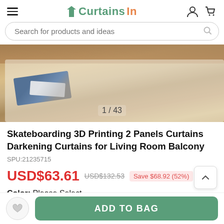CurtainsIn — navigation header with hamburger menu, logo, user and cart icons
Search for products and ideas
[Figure (photo): Product photo showing a rug with skateboard-themed curtains/print on a hardwood floor. Image counter shows 1 / 43.]
Skateboarding 3D Printing 2 Panels Curtains Darkening Curtains for Living Room Balcony
SPU:21235715
USD$63.61   USD$132.53   Save $68.92 (52%)
Color: Please Select
ADD TO BAG